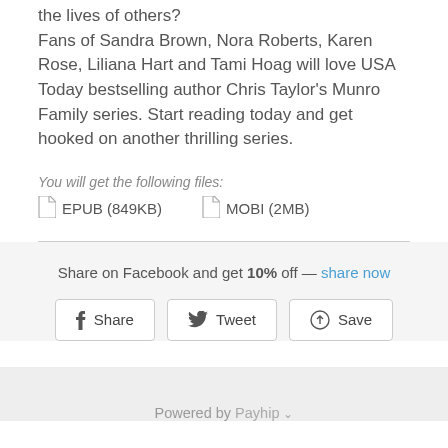the lives of others? Fans of Sandra Brown, Nora Roberts, Karen Rose, Liliana Hart and Tami Hoag will love USA Today bestselling author Chris Taylor's Munro Family series. Start reading today and get hooked on another thrilling series.
You will get the following files:
EPUB (849KB)   MOBI (2MB)
Share on Facebook and get 10% off — share now
Share   Tweet   Save
Powered by Payhip